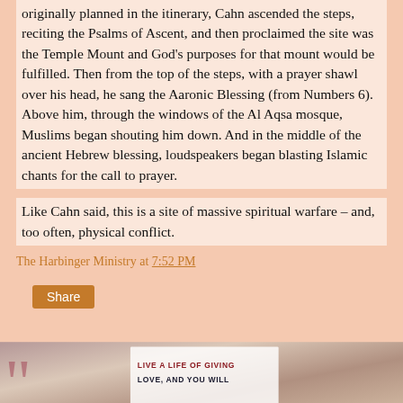originally planned in the itinerary, Cahn ascended the steps, reciting the Psalms of Ascent, and then proclaimed the site was the Temple Mount and God's purposes for that mount would be fulfilled. Then from the top of the steps, with a prayer shawl over his head, he sang the Aaronic Blessing (from Numbers 6). Above him, through the windows of the Al Aqsa mosque, Muslims began shouting him down. And in the middle of the ancient Hebrew blessing, loudspeakers began blasting Islamic chants for the call to prayer.
Like Cahn said, this is a site of massive spiritual warfare – and, too often, physical conflict.
The Harbinger Ministry at 7:52 PM
Share
[Figure (photo): Motivational quote image with large quotation marks on left and text reading 'LIVE A LIFE OF GIVING LOVE, AND YOU WILL' on a white panel, with colorful background]